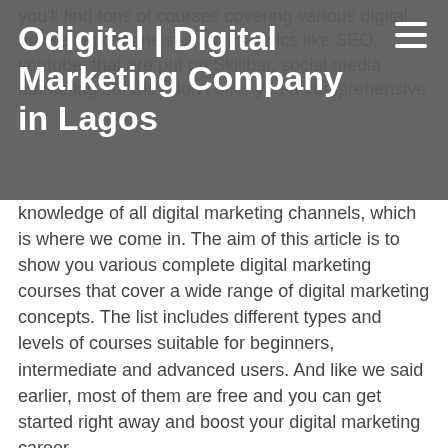Odigital | Digital Marketing Company in Lagos
knowledge of all digital marketing channels, which is where we come in. The aim of this article is to show you various complete digital marketing courses that cover a wide range of digital marketing concepts. The list includes different types and levels of courses suitable for beginners, intermediate and advanced users. And like we said earlier, most of them are free and you can get started right away and boost your digital marketing career.
In this post, you'll find the best digital marketing courses available online. The list includes both Free and Paid digital marketing training courses from